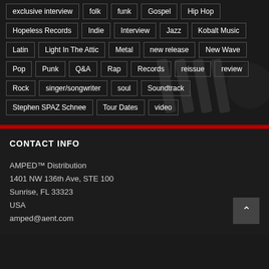exclusive interview
folk
funk
Gospel
Hip Hop
Hopeless Records
Indie
Interview
Jazz
Kobalt Music
Latin
Light In The Attic
Metal
new release
New Wave
Pop
Punk
Q&A
Rap
Records
reissue
review
Rock
singer/songwriter
soul
Soundtrack
Stephen SPAZ Schnee
Tour Dates
video
CONTACT INFO
AMPED™ Distribution
1401 NW 136th Ave, STE 100
Sunrise, FL 33323
USA
amped@aent.com